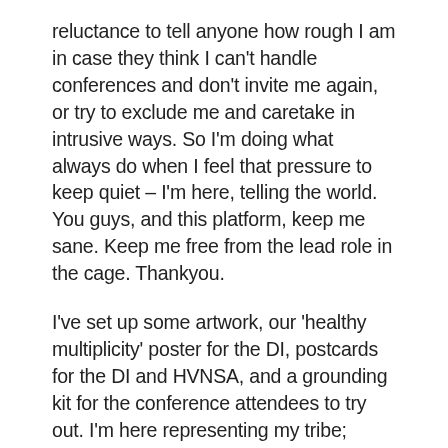reluctance to tell anyone how rough I am in case they think I can't handle conferences and don't invite me again, or try to exclude me and caretake in intrusive ways. So I'm doing what always do when I feel that pressure to keep quiet – I'm here, telling the world. You guys, and this platform, keep me sane. Keep me free from the lead role in the cage. Thankyou.
I've set up some artwork, our 'healthy multiplicity' poster for the DI, postcards for the DI and HVNSA, and a grounding kit for the conference attendees to try out. I'm here representing my tribe; artists, people with lived experience, peer workers, people who have been through trauma, freelancers, people who are poor, queer people, people with a disability, social entrepreneurs, multiples, counter culture people... I hope I'm doing right by each of these communities. I'm doing my best